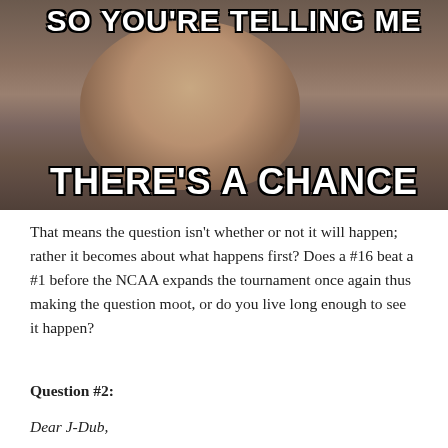[Figure (photo): Meme image showing a smiling man (Jim Carrey from Dumb and Dumber) with white bold Impact-font text overlay. Top text: 'SO YOU'RE TELLING ME'. Bottom text: 'THERE'S A CHANCE']
That means the question isn't whether or not it will happen; rather it becomes about what happens first? Does a #16 beat a #1 before the NCAA expands the tournament once again thus making the question moot, or do you live long enough to see it happen?
Question #2:
Dear J-Dub,